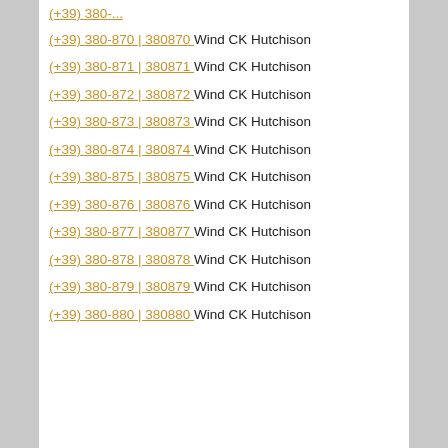(+39) 380-870 | 380870 Wind CK Hutchison
(+39) 380-871 | 380871 Wind CK Hutchison
(+39) 380-872 | 380872 Wind CK Hutchison
(+39) 380-873 | 380873 Wind CK Hutchison
(+39) 380-874 | 380874 Wind CK Hutchison
(+39) 380-875 | 380875 Wind CK Hutchison
(+39) 380-876 | 380876 Wind CK Hutchison
(+39) 380-877 | 380877 Wind CK Hutchison
(+39) 380-878 | 380878 Wind CK Hutchison
(+39) 380-879 | 380879 Wind CK Hutchison
(+39) 380-880 | 380880 Wind CK Hutchison